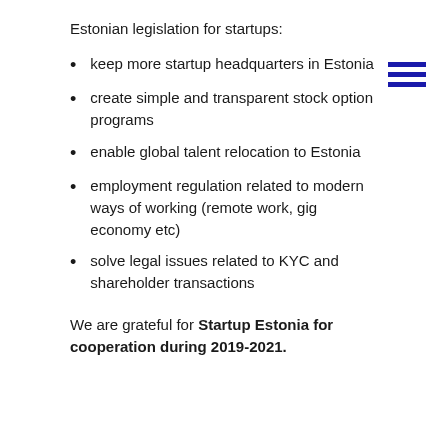Estonian legislation for startups:
keep more startup headquarters in Estonia
create simple and transparent stock option programs
enable global talent relocation to Estonia
employment regulation related to modern ways of working (remote work, gig economy etc)
solve legal issues related to KYC and shareholder transactions
We are grateful for Startup Estonia for cooperation during 2019-2021.